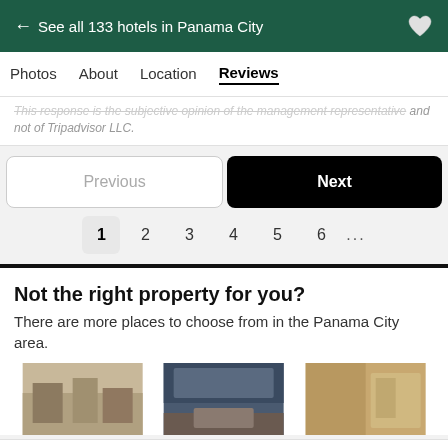← See all 133 hotels in Panama City
Photos  About  Location  Reviews
This response is the subjective opinion of the management representative and not of Tripadvisor LLC.
Previous   Next   1  2  3  4  5  6  ...
Not the right property for you?
There are more places to choose from in the Panama City area.
[Figure (photo): Three hotel room photos in a horizontal strip]
Booking.com   US$92
View deal